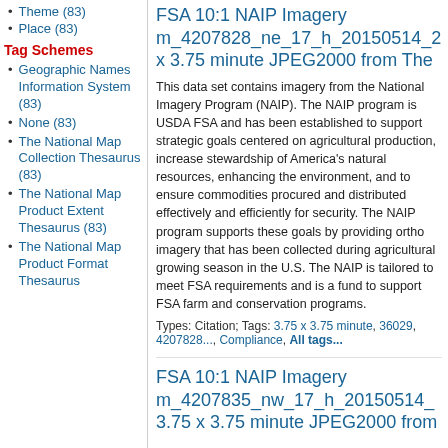Theme (83)
Place (83)
Tag Schemes
Geographic Names Information System (83)
None (83)
The National Map Collection Thesaurus (83)
The National Map Product Extent Thesaurus (83)
The National Map Product Format Thesaurus
FSA 10:1 NAIP Imagery m_4207828_ne_17_h_20150514_2 x 3.75 minute JPEG2000 from The
This data set contains imagery from the National Imagery Program (NAIP). The NAIP program is USDA FSA and has been established to support strategic goals centered on agricultural production, increase stewardship of America's natural resources, enhancing the environment, and to ensure commodities procured and distributed effectively and efficiently for security. The NAIP program supports these goals by providing ortho imagery that has been collected during agricultural growing season in the U.S. The NAIP is tailored to meet FSA requirements and is a fundamental to support FSA farm and conservation programs.
Types: Citation; Tags: 3.75 x 3.75 minute, 36029, 4207828..., Compliance, All tags...
FSA 10:1 NAIP Imagery m_4207835_nw_17_h_20150514_ 3.75 x 3.75 minute JPEG2000 from